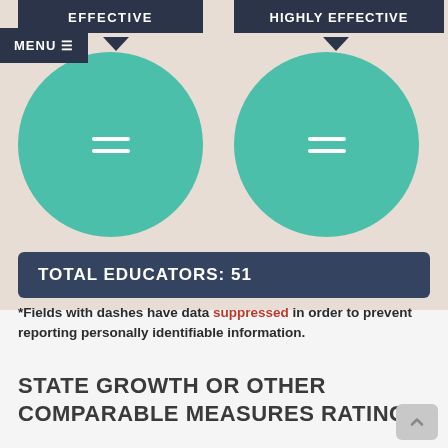EFFECTIVE
HIGHLY EFFECTIVE
[Figure (infographic): Two teal circles each containing two white dash lines indicating suppressed data, under EFFECTIVE and HIGHLY EFFECTIVE labels]
TOTAL EDUCATORS: 51
*Fields with dashes have data suppressed in order to prevent reporting personally identifiable information.
STATE GROWTH OR OTHER COMPARABLE MEASURES RATING